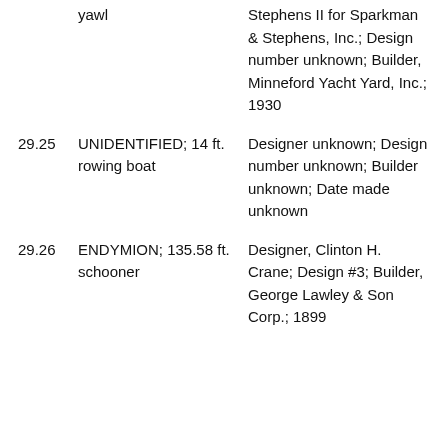yawl
Stephens II for Sparkman & Stephens, Inc.; Design number unknown; Builder, Minneford Yacht Yard, Inc.; 1930
29.25
UNIDENTIFIED; 14 ft. rowing boat
Designer unknown; Design number unknown; Builder unknown; Date made unknown
29.26
ENDYMION; 135.58 ft. schooner
Designer, Clinton H. Crane; Design #3; Builder, George Lawley & Son Corp.; 1899